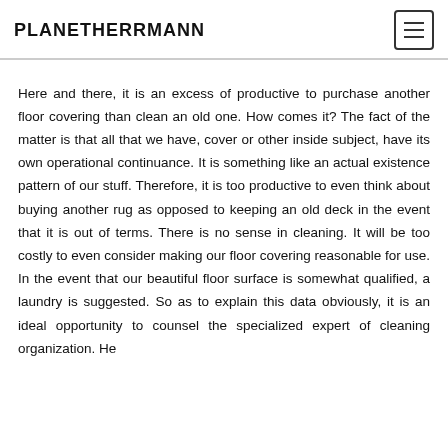PLANETHERRMANN
Here and there, it is an excess of productive to purchase another floor covering than clean an old one. How comes it? The fact of the matter is that all that we have, cover or other inside subject, have its own operational continuance. It is something like an actual existence pattern of our stuff. Therefore, it is too productive to even think about buying another rug as opposed to keeping an old deck in the event that it is out of terms. There is no sense in cleaning. It will be too costly to even consider making our floor covering reasonable for use. In the event that our beautiful floor surface is somewhat qualified, a laundry is suggested. So as to explain this data obviously, it is an ideal opportunity to counsel the specialized expert of cleaning organization. He